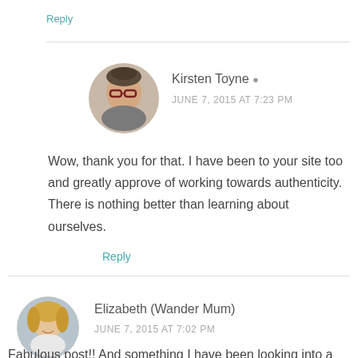Reply
Kirsten Toyne
JUNE 7, 2015 AT 7:23 PM
Wow, thank you for that. I have been to your site too and greatly approve of working towards authenticity. There is nothing better than learning about ourselves.
Reply
Elizabeth (Wander Mum)
JUNE 7, 2015 AT 7:02 PM
Fabulous post!! And something I have been looking into a